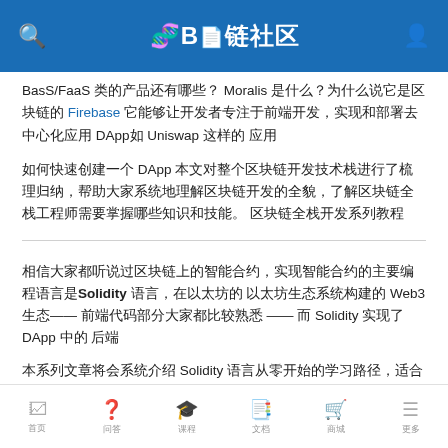B链社区
BasS/FaaS 类的产品还有哪些？ Moralis 是什么？为什么说它是区块链的 Firebase 它能够让开发者专注于前端开发 DApp如 Uniswap 这样的
如何快速创建一个 DApp 本文对整个区块链开发技术栈进行了梳理归纳，帮助大家系统地理解区块链开发的全貌。
相信大家都听说过区块链上的智能合约，实现智能合约的主要编程语言是Solidity 语言，在以太坊的 Web3 生态—— 前端代码部分大家都比较熟悉 —— 而 Solidity 实现了 DApp 中的
本系列文章将会系统介绍 Solidity 语言从零开始的学习路径，适合已经有一定编程经验的同学。 Solidity 语言的特点是语法来源...